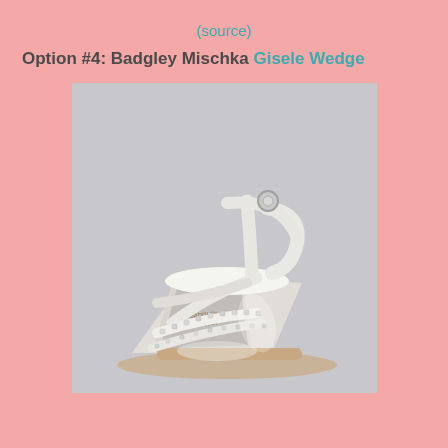(source)
Option #4: Badgley Mischka Gisele Wedge
[Figure (photo): A white/ivory Badgley Mischka Gisele Wedge sandal with crystal embellished toe straps, crisscross ankle straps, and a wedge heel, photographed against a gray background.]